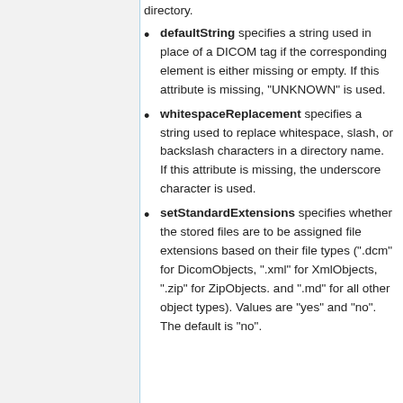directory.
defaultString specifies a string used in place of a DICOM tag if the corresponding element is either missing or empty. If this attribute is missing, "UNKNOWN" is used.
whitespaceReplacement specifies a string used to replace whitespace, slash, or backslash characters in a directory name. If this attribute is missing, the underscore character is used.
setStandardExtensions specifies whether the stored files are to be assigned file extensions based on their file types (".dcm" for DicomObjects, ".xml" for XmlObjects, ".zip" for ZipObjects. and ".md" for all other object types). Values are "yes" and "no". The default is "no".